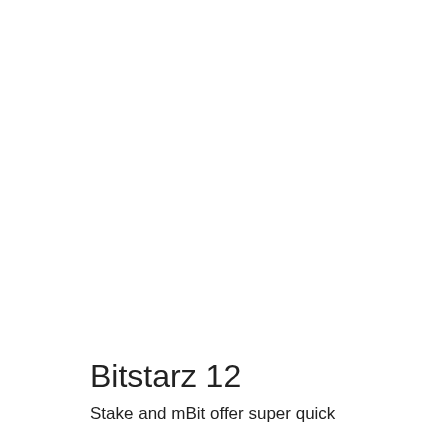Bitstarz 12
Stake and mBit offer super quick